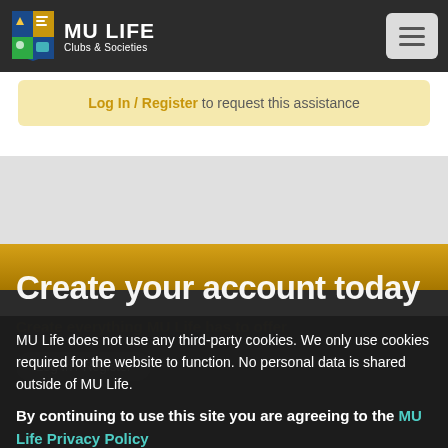MU LIFE Clubs & Societies
Log In / Register to request this assistance
Create your account today
MU Life does not use any third-party cookies. We only use cookies required for the website to function. No personal data is shared outside of MU Life.
By continuing to use this site you are agreeing to the MU Life Privacy Policy
Accept & Close